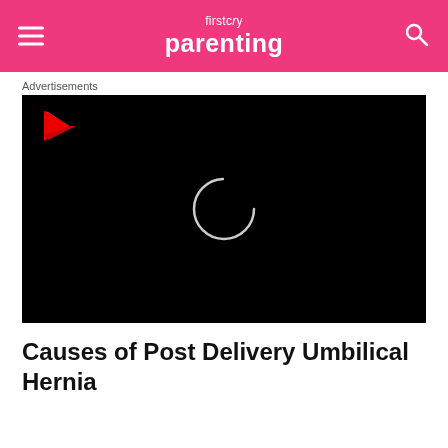firstcry parenting
Advertisements
[Figure (screenshot): Black video player with red play icon in top-left and loading spinner circle in center]
Causes of Post Delivery Umbilical Hernia